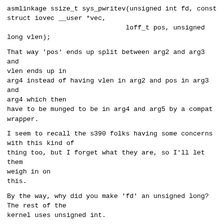asmlinkage ssize_t sys_pwritev(unsigned int fd, const struct iovec __user *vec,
                              loff_t pos, unsigned long vlen);
That way 'pos' ends up split between arg2 and arg3 and vlen ends up in
arg4 instead of having vlen in arg2 and pos in arg3 and arg4 which then
have to be munged to be in arg4 and arg5 by a compat wrapper.
I seem to recall the s390 folks having some concerns with this kind of
thing too, but I forget what they are, so I'll let them weigh in on
this.
By the way, why did you make 'fd' an unsigned long? The rest of the
kernel uses unsigned int.
--
Matthew Wilcox                          Intel Open Source Technology Centre
"Bill, look, we understand that you're interested in selling us this
operating system, but compare it to ours.  We can't possibly take such
a retrograde step."